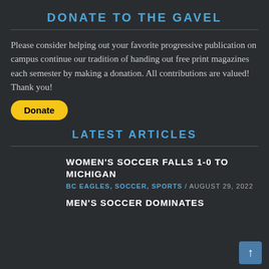DONATE TO THE GAVEL
Please consider helping out your favorite progressive publication on campus continue our tradition of handing out free print magazines each semester by making a donation. All contributions are valued! Thank you!
[Figure (other): Yellow PayPal Donate button]
LATEST ARTICLES
WOMEN'S SOCCER FALLS 1-0 TO MICHIGAN
BC EAGLES, SOCCER, SPORTS / AUGUST 29, 2022
MEN'S SOCCER DOMINATES